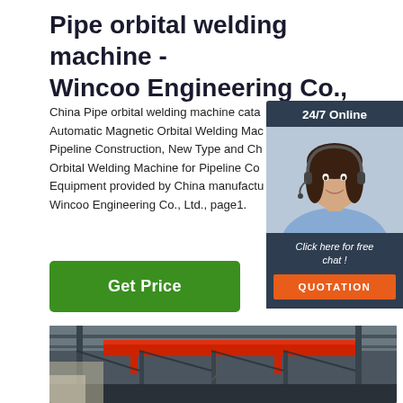Pipe orbital welding machine - Wincoo Engineering Co.,
China Pipe orbital welding machine catalog of Automatic Magnetic Orbital Welding Machine for Pipeline Construction, New Type and Cheap Orbital Welding Machine for Pipeline Construction Equipment provided by China manufacturer - Wincoo Engineering Co., Ltd., page1.
[Figure (other): Customer service widget showing a woman with headset, 24/7 Online label, Click here for free chat text, and QUOTATION button on dark navy background]
[Figure (photo): Industrial factory interior showing red overhead crane beam against steel roof structure, warehouse setting]
Get Price